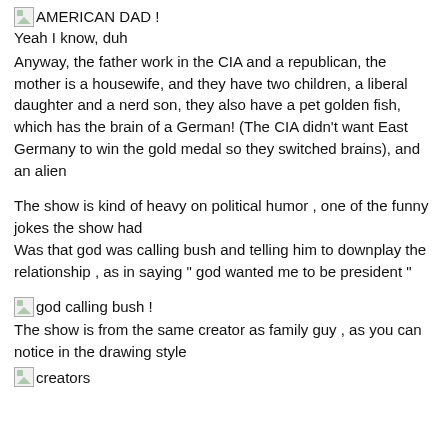[Figure (illustration): Broken image placeholder for American Dad]
AMERICAN DAD !
Yeah I know, duh
Anyway, the father work in the CIA and a republican, the mother is a housewife, and they have two children, a liberal daughter and a nerd son, they also have a pet golden fish, which has the brain of a German! (The CIA didn't want East Germany to win the gold medal so they switched brains), and an alien
The show is kind of heavy on political humor , one of the funny jokes the show had
Was that god was calling bush and telling him to downplay the relationship , as in saying " god wanted me to be president "
[Figure (illustration): Broken image placeholder for god calling bush]
god calling bush !
The show is from the same creator as family guy , as you can notice in the drawing style
[Figure (illustration): Broken image placeholder for creators]
creators